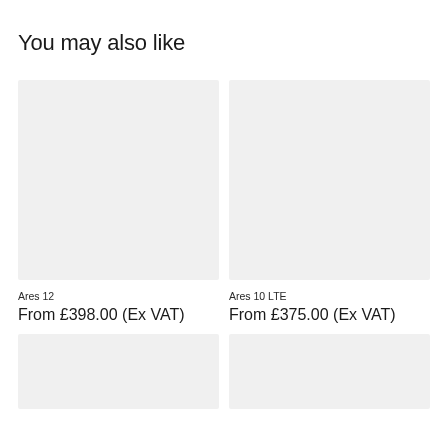You may also like
[Figure (photo): Product image placeholder for Ares 12, light grey rectangle]
Ares 12
From £398.00 (Ex VAT)
[Figure (photo): Product image placeholder for Ares 10 LTE, light grey rectangle]
Ares 10 LTE
From £375.00 (Ex VAT)
[Figure (photo): Product image placeholder bottom left, light grey rectangle]
[Figure (photo): Product image placeholder bottom right, light grey rectangle]